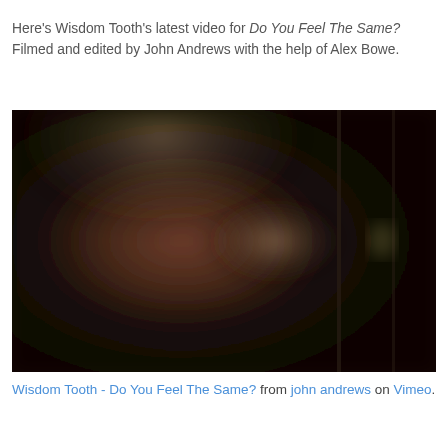Here's Wisdom Tooth's latest video for Do You Feel The Same? Filmed and edited by John Andrews with the help of Alex Bowe.
[Figure (photo): Dark, blurry video still showing a dimly lit room with warm reddish-brown tones in the center and dark edges, a person or object faintly visible.]
Wisdom Tooth - Do You Feel The Same? from john andrews on Vimeo.